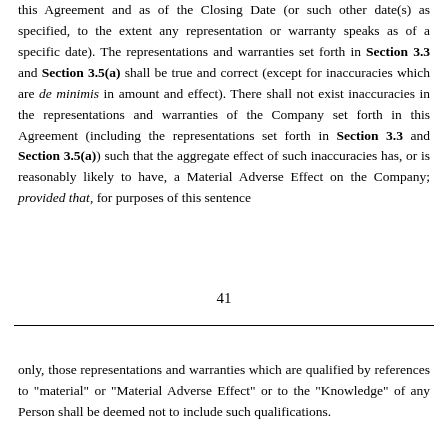this Agreement and as of the Closing Date (or such other date(s) as specified, to the extent any representation or warranty speaks as of a specific date). The representations and warranties set forth in Section 3.3 and Section 3.5(a) shall be true and correct (except for inaccuracies which are de minimis in amount and effect). There shall not exist inaccuracies in the representations and warranties of the Company set forth in this Agreement (including the representations set forth in Section 3.3 and Section 3.5(a)) such that the aggregate effect of such inaccuracies has, or is reasonably likely to have, a Material Adverse Effect on the Company; provided that, for purposes of this sentence
41
only, those representations and warranties which are qualified by references to "material" or "Material Adverse Effect" or to the "Knowledge" of any Person shall be deemed not to include such qualifications.
Section 8.2    Performance by the Company. The Company shall have performed or complied in all material respects with all of the covenants and